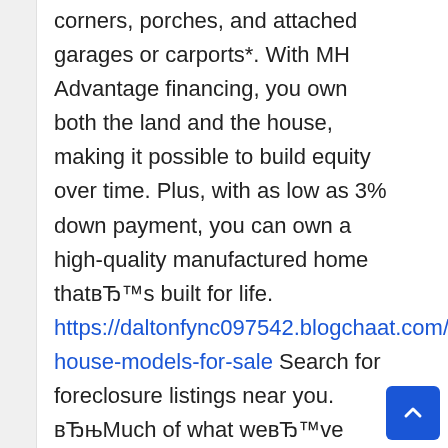corners, porches, and attached garages or carports*. With MH Advantage financing, you own both the land and the house, making it possible to build equity over time. Plus, with as low as 3% down payment, you can own a high-quality manufactured home thatвЂ™s built for life. https://daltonfync097542.blogchaat.com/8577585/tiny-house-models-for-sale Search for foreclosure listings near you. вЂњMuch of what weвЂ™ve seen in the run-up of home prices over the last